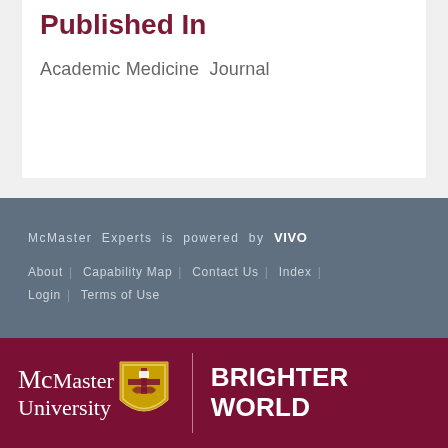Published In
Academic Medicine  Journal
McMaster Experts is powered by VIVO
About | Capability Map | Contact Us | Index | Login | Terms of Use
[Figure (logo): McMaster University logo with shield and BRIGHTER WORLD tagline on maroon background]